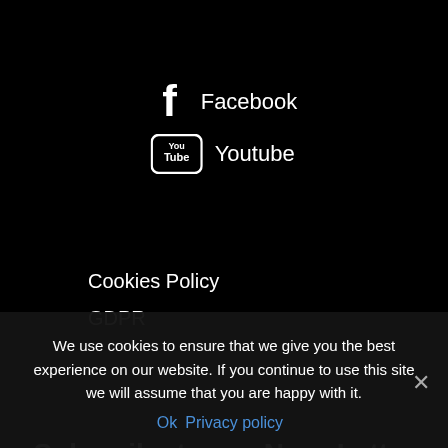Facebook
Youtube
Cookies Policy
GDPR
Subscribe to our NewsLetter
E-mail *
We use cookies to ensure that we give you the best experience on our website. If you continue to use this site we will assume that you are happy with it.
Ok  Privacy policy